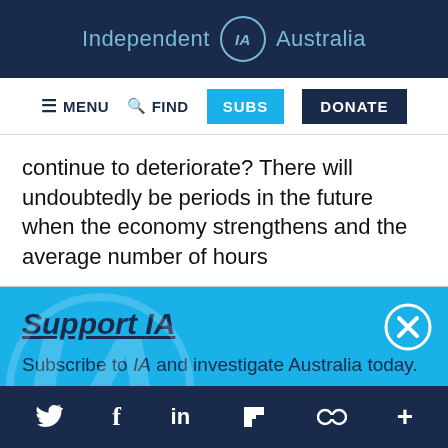Independent IA Australia
≡ MENU  🔍 FIND  SUBS  DONATE
continue to deteriorate? There will undoubtedly be periods in the future when the economy strengthens and the average number of hours
Support IA
Subscribe to IA and investigate Australia today.
Close  Subscribe  Donate
Twitter  Facebook  LinkedIn  Flipboard  Share  More